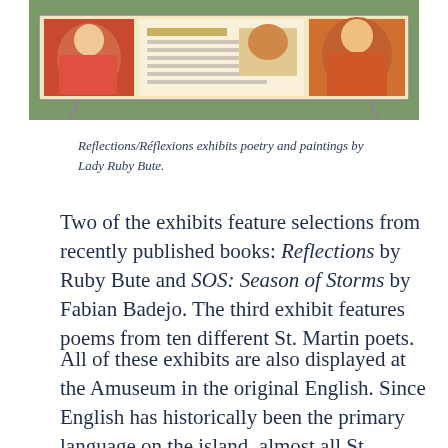[Figure (photo): Outdoor display panel showing colorful paintings and poetry exhibits, likely from the Reflections/Réflexions exhibition featuring works by Lady Ruby Bute.]
Reflections/Réflexions exhibits poetry and paintings by Lady Ruby Bute.
Two of the exhibits feature selections from recently published books: Reflections by Ruby Bute and SOS: Season of Storms by Fabian Badejo. The third exhibit features poems from ten different St. Martin poets.
All of these exhibits are also displayed at the Amuseum in the original English. Since English has historically been the primary language on the island, almost all St. Martin poetry has been written in English. Often, authors use St. Martin English, which has its